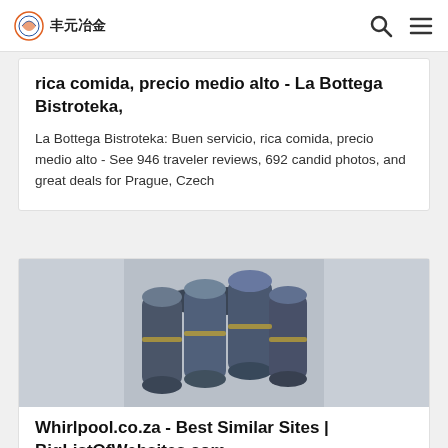丰元冶金
rica comida, precio medio alto - La Bottega Bistroteka,
La Bottega Bistroteka: Buen servicio, rica comida, precio medio alto - See 946 traveler reviews, 692 candid photos, and great deals for Prague, Czech
[Figure (photo): Stack of dark metallic graphite electrode rods or industrial pipes bundled together]
Whirlpool.co.za - Best Similar Sites | BigListOfWebsites.com